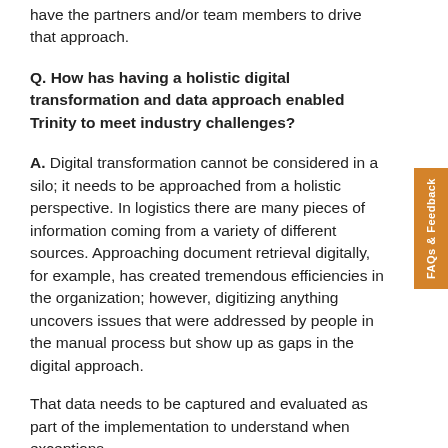have the partners and/or team members to drive that approach.
Q. How has having a holistic digital transformation and data approach enabled Trinity to meet industry challenges?
A. Digital transformation cannot be considered in a silo; it needs to be approached from a holistic perspective. In logistics there are many pieces of information coming from a variety of different sources. Approaching document retrieval digitally, for example, has created tremendous efficiencies in the organization; however, digitizing anything uncovers issues that were addressed by people in the manual process but show up as gaps in the digital approach.
That data needs to be captured and evaluated as part of the implementation to understand when exceptions